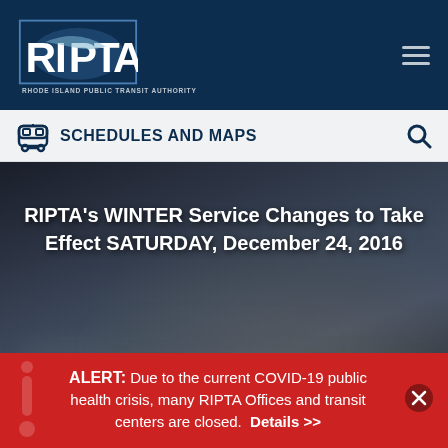RIPTA - Rhode Island Public Transit Authority
SCHEDULES AND MAPS
[Figure (screenshot): RIPTA website screenshot showing hero banner with blurred bus interior background and article title: RIPTA's WINTER Service Changes to Take Effect SATURDAY, December 24, 2016]
RIPTA's WINTER Service Changes to Take Effect SATURDAY, December 24, 2016
ALERT: Due to the current COVID-19 public health crisis, many RIPTA Offices and transit centers are closed. Details >>